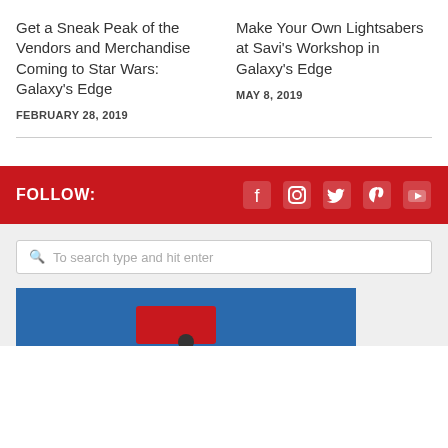Get a Sneak Peak of the Vendors and Merchandise Coming to Star Wars: Galaxy's Edge
FEBRUARY 28, 2019
Make Your Own Lightsabers at Savi's Workshop in Galaxy's Edge
MAY 8, 2019
FOLLOW:
To search type and hit enter
[Figure (screenshot): Partial blue image at bottom of page]